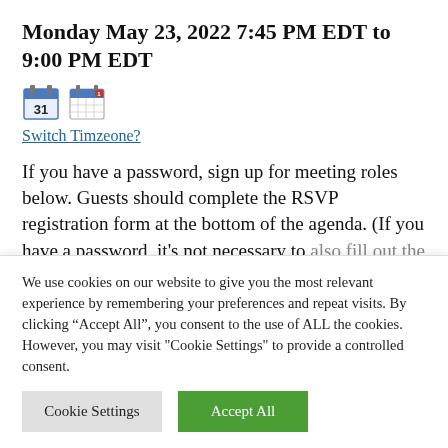Monday May 23, 2022 7:45 PM EDT to 9:00 PM EDT
[Figure (illustration): Two calendar icons side by side: a blue calendar showing '31' and a red/blue monthly calendar grid icon]
Switch Timzeone?
If you have a password, sign up for meeting roles below. Guests should complete the RSVP registration form at the bottom of the agenda. (If you have a password, it’s not necessary to also fill out the RSVP form — we would rather
We use cookies on our website to give you the most relevant experience by remembering your preferences and repeat visits. By clicking “Accept All”, you consent to the use of ALL the cookies. However, you may visit "Cookie Settings" to provide a controlled consent.